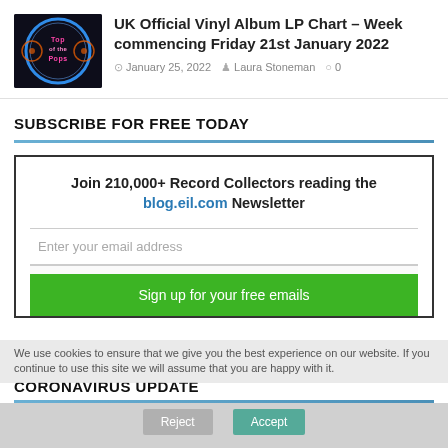[Figure (logo): Top of the Pops logo — circular neon sign on black background]
UK Official Vinyl Album LP Chart – Week commencing Friday 21st January 2022
January 25, 2022  Laura Stoneman  0
SUBSCRIBE FOR FREE TODAY
Join 210,000+ Record Collectors reading the blog.eil.com Newsletter
Enter your email address
Sign up for your free emails
We use cookies to ensure that we give you the best experience on our website. If you continue to use this site we will assume that you are happy with it.
CORONAVIRUS UPDATE